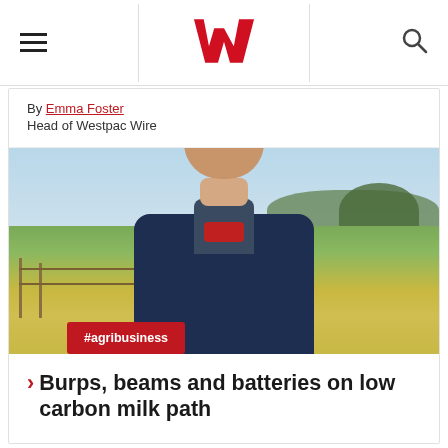Westpac Wire — navigation bar with hamburger menu, Westpac logo, and search icon
By Emma Foster
Head of Westpac Wire
[Figure (photo): Man in a navy puffer jacket and navy cap standing outdoors in a rural paddock with green and golden grass, fence posts, and trees in the background under a blue sky. Red badge overlay reads #agribusiness.]
Burps, beams and batteries on low carbon milk path